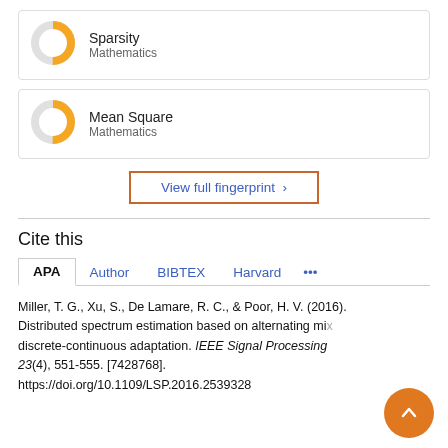[Figure (donut-chart): Donut chart for Sparsity – Mathematics, approximately 50% filled in orange]
Sparsity
Mathematics
[Figure (donut-chart): Donut chart for Mean Square – Mathematics, approximately 50% filled in orange]
Mean Square
Mathematics
View full fingerprint >
Cite this
APA   Author   BIBTEX   Harvard   ...
Miller, T. G., Xu, S., De Lamare, R. C., & Poor, H. V. (2016). Distributed spectrum estimation based on alternating mi... discrete-continuous adaptation. IEEE Signal Processing... 23(4), 551-555. [7428768].
https://doi.org/10.1109/LSP.2016.2539328